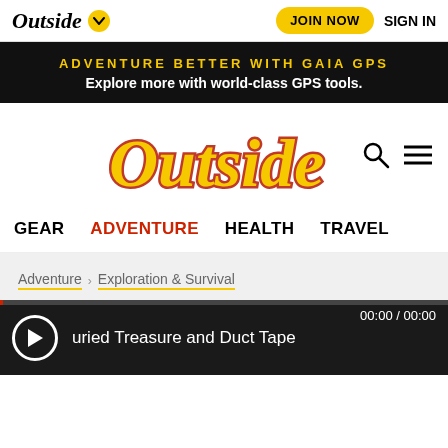Outside | JOIN NOW | SIGN IN
[Figure (infographic): Ad banner: ADVENTURE BETTER WITH GAIA GPS - Explore more with world-class GPS tools.]
[Figure (logo): Outside magazine logo in yellow/orange with red outline, large stylized text]
GEAR  ADVENTURE  HEALTH  TRAVEL
Adventure > Exploration & Survival
00:00 / 00:00
buried Treasure and Duct Tape